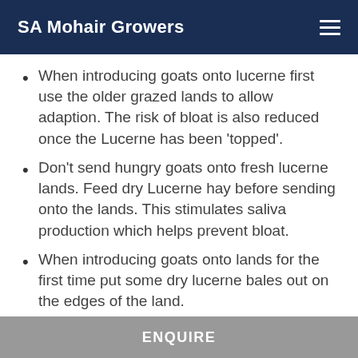SA Mohair Growers
When introducing goats onto lucerne first use the older grazed lands to allow adaption. The risk of bloat is also reduced once the Lucerne has been ‘topped’.
Don’t send hungry goats onto fresh lucerne lands. Feed dry Lucerne hay before sending onto the lands. This stimulates saliva production which helps prevent bloat.
When introducing goats onto lands for the first time put some dry lucerne bales out on the edges of the land.
Place a member of staff to ‘watch’ the
ENQUIRE